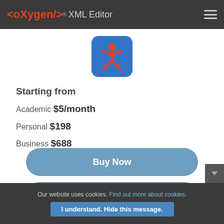<oXygen/> XML Editor
[Figure (logo): Oxygen XML Editor app icon — blue rounded square with a red stick figure person]
Starting from
Academic $5/month
Personal $198
Business $688
Buy Now
Download
Our website uses cookies. Find out more about cookies. I understand. Hide this message.